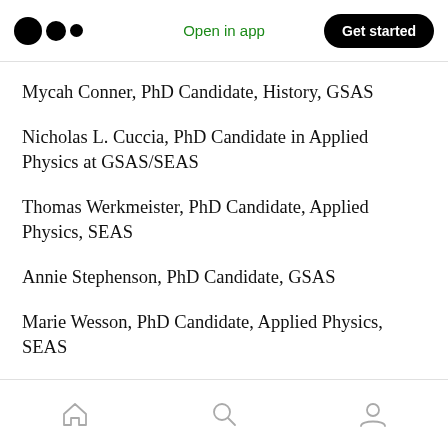Open in app  Get started
Mycah Conner, PhD Candidate, History, GSAS
Nicholas L. Cuccia, PhD Candidate in Applied Physics at GSAS/SEAS
Thomas Werkmeister, PhD Candidate, Applied Physics, SEAS
Annie Stephenson, PhD Candidate, GSAS
Marie Wesson, PhD Candidate, Applied Physics, SEAS
Home  Search  Profile